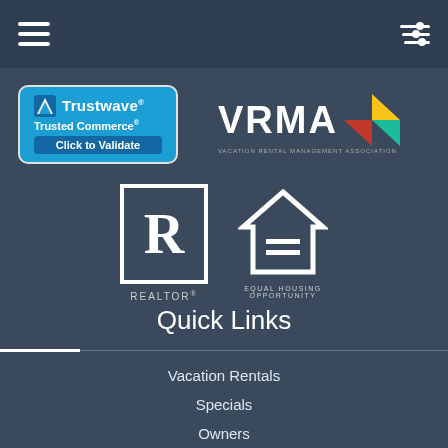Navigation bar with hamburger menu and filter icon
[Figure (logo): Trustwave Trusted Commerce Click to Validate badge - blue rounded rectangle logo]
[Figure (logo): VRMA Vacation Rental Management Association logo with colorful triangle arrow]
[Figure (logo): REALTOR logo - letter R in white box]
[Figure (logo): Equal Housing Opportunity logo - house with equal sign]
Quick Links
Vacation Rentals
Specials
Owners